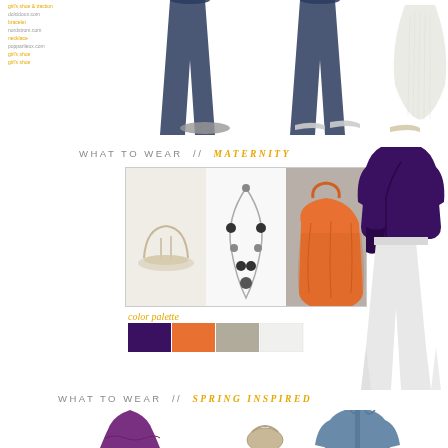girl's shoe & traction
dolcidoux.com
bracelet
nordstrom.com
necklace
popparlieux.com
girl's shoe
girl's shoe
[Figure (photo): Top section showing jeans, skirt, and shoes from previous fashion section]
WHAT TO WEAR // MATERNITY
[Figure (photo): Three product photos: flat sandals, beaded necklace, orange handbag]
color palette
[Figure (infographic): Color palette swatches: dark purple, orange, tan/grey, white]
[Figure (photo): Maternity outfit: dark purple wrap top with white flared pants]
WHAT TO WEAR // SPRING INSPIRED
[Figure (photo): Spring inspired clothing items: purple dress and denim shirt at bottom of page]